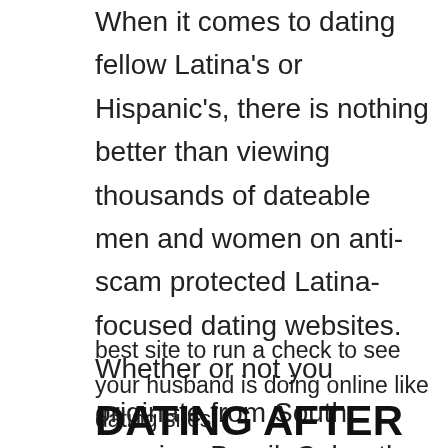When it comes to dating fellow Latina's or Hispanic's, there is nothing better than viewing thousands of dateable men and women on anti-scam protected Latina-focused dating websites. Whether or not you originate from South america, Brazil, Cuba, the certain Dominican republic or all kinds regarding other Latin American region, you may easily locate the Hispanic dating sites, of which will certainly make an individual find your own wife.
best site to run a check to see your husband is doing online like dating sites
DATING AFTER 40